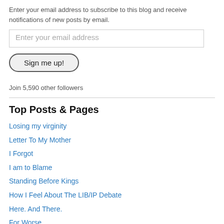Enter your email address to subscribe to this blog and receive notifications of new posts by email.
Enter your email address
Sign me up!
Join 5,590 other followers
Top Posts & Pages
Losing my virginity
Letter To My Mother
I Forgot
I am to Blame
Standing Before Kings
How I Feel About The LIB/IP Debate
Here. And There.
For Worse